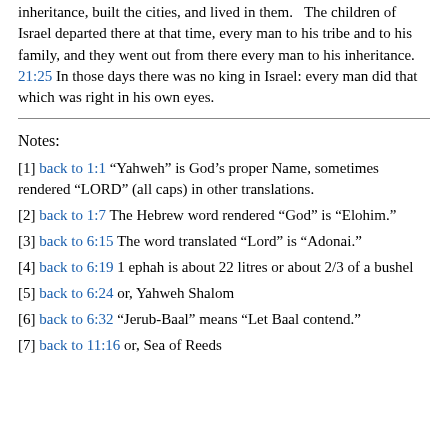inheritance, built the cities, and lived in them. The children of Israel departed there at that time, every man to his tribe and to his family, and they went out from there every man to his inheritance. 21:25 In those days there was no king in Israel: every man did that which was right in his own eyes.
Notes:
[1] back to 1:1 “Yahweh” is God’s proper Name, sometimes rendered “LORD” (all caps) in other translations.
[2] back to 1:7 The Hebrew word rendered “God” is “Elohim.”
[3] back to 6:15 The word translated “Lord” is “Adonai.”
[4] back to 6:19 1 ephah is about 22 litres or about 2/3 of a bushel
[5] back to 6:24 or, Yahweh Shalom
[6] back to 6:32 “Jerub-Baal” means “Let Baal contend.”
[7] back to 11:16 or, Sea of Reeds